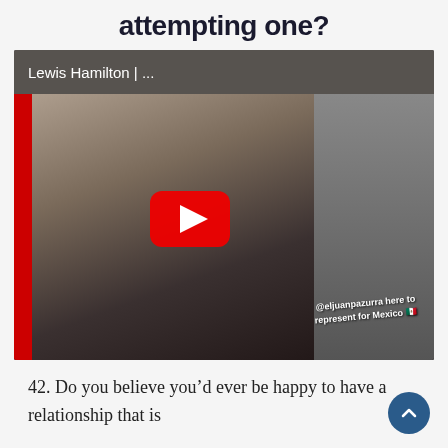attempting one?
[Figure (screenshot): YouTube video thumbnail showing Lewis Hamilton | ... title bar, with a photo of people including a man in sunglasses and a woman, with a YouTube play button overlay in the center. Text overlay reads '@eljuanpazurra here to represent for Mexico' with a Mexican flag emoji.]
42. Do you believe youвЂ™d ever be happy to have a relationship that is